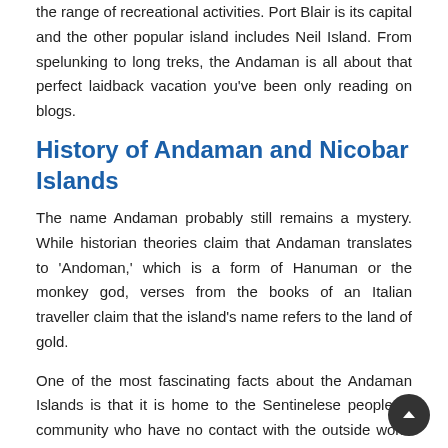the range of recreational activities. Port Blair is its capital and the other popular island includes Neil Island. From spelunking to long treks, the Andaman is all about that perfect laidback vacation you've been only reading on blogs.
History of Andaman and Nicobar Islands
The name Andaman probably still remains a mystery. While historian theories claim that Andaman translates to 'Andoman,' which is a form of Hanuman or the monkey god, verses from the books of an Italian traveller claim that the island's name refers to the land of gold.
One of the most fascinating facts about the Andaman Islands is that it is home to the Sentinelese people, a community who have no contact with the outside world and live in seclusion. They are untouched by the intricacies of the modern day civilization, have no recorded agricultural practices and speak in a language which is unclassified. Though it has been very difficult to crack the time of their settlement or inhabita…,